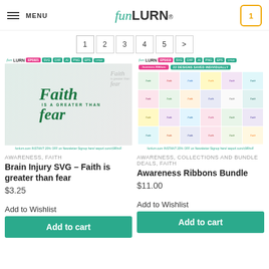MENU | funLURN® | 1
1 2 3 4 5 >
[Figure (photo): Brain Injury SVG product image showing Faith is greater than fear calligraphy in green on a hoodie]
AWARENESS, FAITH
Brain Injury SVG – Faith is greater than fear
$3.25
Add to Wishlist
Add to cart
[Figure (photo): Awareness Ribbons Bundle product image showing grid of colorful faith over fear ribbon designs]
AWARENESS, COLLECTIONS AND BUNDLE DEALS, FAITH
Awareness Ribbons Bundle
$11.00
Add to Wishlist
Add to cart